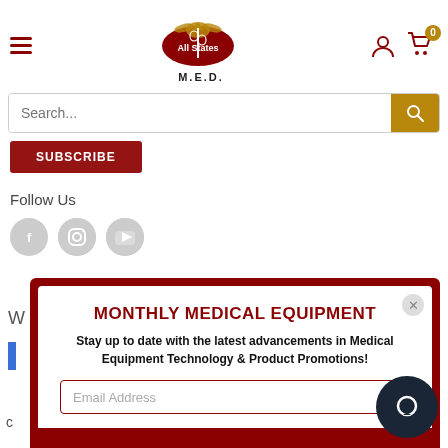All States M.E.D. - navigation header with hamburger menu, logo, user icon, cart icon with badge 0
Search...
SUBSCRIBE (button)
Follow Us
Social icons: Facebook, Instagram, YouTube
MONTHLY MEDICAL EQUIPMENT
Stay up to date with the latest advancements in Medical Equipment Technology & Product Promotions!
Email Address